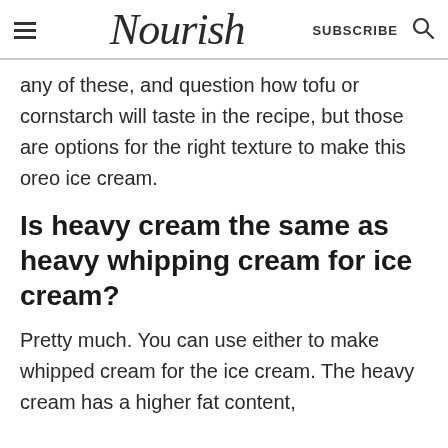Nourish | SUBSCRIBE
any of these, and question how tofu or cornstarch will taste in the recipe, but those are options for the right texture to make this oreo ice cream.
Is heavy cream the same as heavy whipping cream for ice cream?
Pretty much. You can use either to make whipped cream for the ice cream. The heavy cream has a higher fat content,